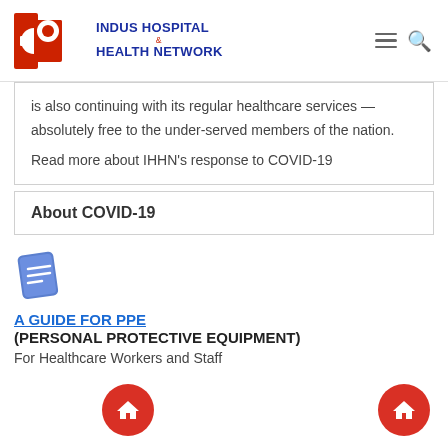[Figure (logo): Indus Hospital & Health Network logo with red H graphic and blue bold text]
is also continuing with its regular healthcare services — absolutely free to the under-served members of the nation.
Read more about IHHN's response to COVID-19
About COVID-19
[Figure (illustration): Blue notebook/book icon]
A GUIDE FOR PPE
(PERSONAL PROTECTIVE EQUIPMENT)
For Healthcare Workers and Staff